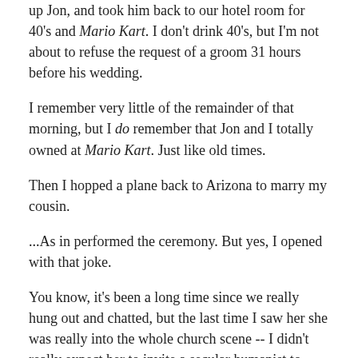up Jon, and took him back to our hotel room for 40's and Mario Kart. I don't drink 40's, but I'm not about to refuse the request of a groom 31 hours before his wedding.
I remember very little of the remainder of that morning, but I do remember that Jon and I totally owned at Mario Kart. Just like old times.
Then I hopped a plane back to Arizona to marry my cousin.
...As in performed the ceremony. But yes, I opened with that joke.
You know, it's been a long time since we really hung out and chatted, but the last time I saw her she was really into the whole church scene -- I didn't really expect her to invite a secular humanist to perform her wedding. But it went off pretty well -- and yeah, I quoted scripture (you know, that "love is patient" bit's pretty all right, actually), but I kept my